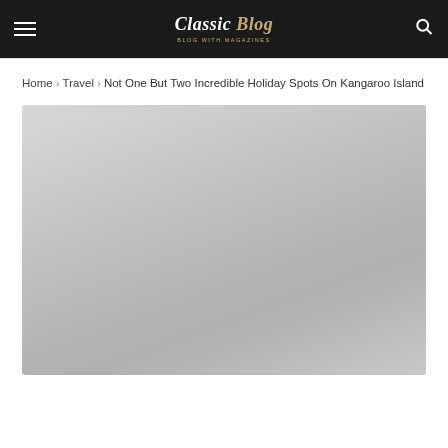Classic Blog
Home › Travel › Not One But Two Incredible Holiday Spots On Kangaroo Island
[Figure (photo): Large placeholder image area for the article hero image, light grey gradient fill]